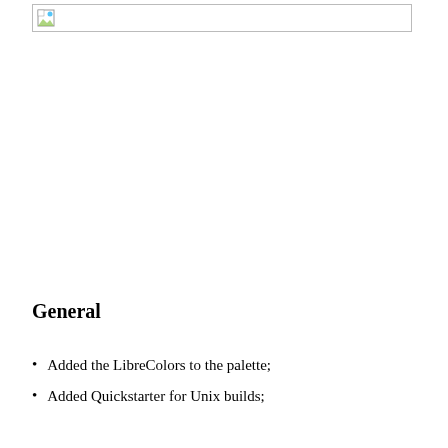[Figure (illustration): Broken/placeholder image icon in a bordered box at the top of the page]
General
Added the LibreColors to the palette;
Added Quickstarter for Unix builds;